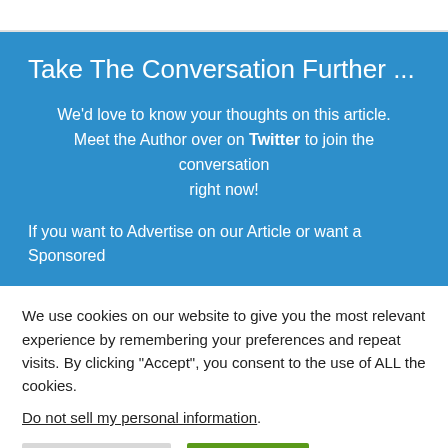Take The Conversation Further ...
We'd love to know your thoughts on this article. Meet the Author over on Twitter to join the conversation right now!
If you want to Advertise on our Article or want a Sponsored
We use cookies on our website to give you the most relevant experience by remembering your preferences and repeat visits. By clicking “Accept”, you consent to the use of ALL the cookies.
Do not sell my personal information.